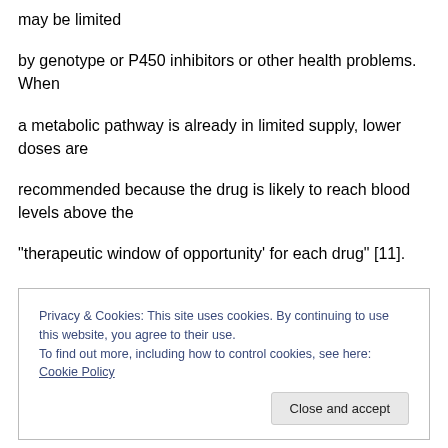may be limited
by genotype or P450 inhibitors or other health problems. When
a metabolic pathway is already in limited supply, lower doses are
recommended because the drug is likely to reach blood levels above the
“therapeutic window of opportunity’ for each drug” [11].
Privacy & Cookies: This site uses cookies. By continuing to use this website, you agree to their use.
To find out more, including how to control cookies, see here: Cookie Policy